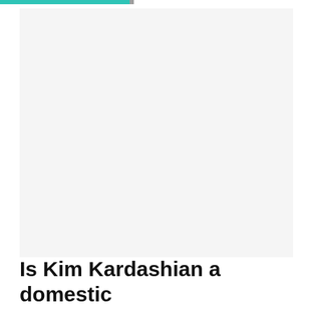[Figure (photo): Large image area, mostly white/light gray, appears to be a photo placeholder or a very light/washed out photograph]
Is Kim Kardashian a domestic